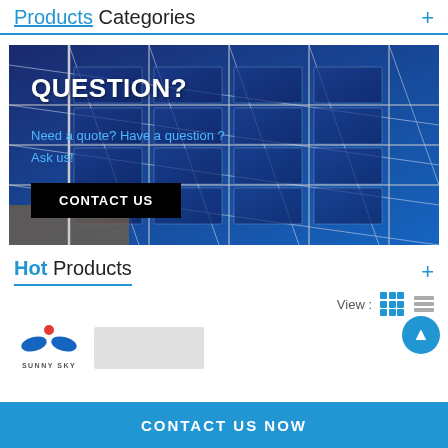Products Categories
[Figure (photo): Solar panels in an outdoor installation, with overlay text 'QUESTION?' in white bold, blue subtext 'Need a quote? Have a question? Ask us!' and a black 'CONTACT US' button]
Hot Products
View :
[Figure (logo): Sunny Sky company logo with red dot and blue wings above text SUNNY SKY]
[Figure (photo): Partial product image, grey/white rectangular product thumbnail]
CONTACT US NOW